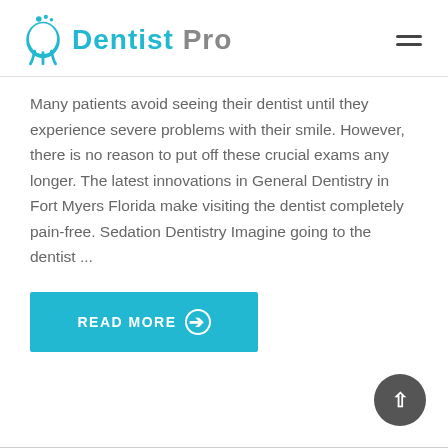Dentist Pro
Many patients avoid seeing their dentist until they experience severe problems with their smile. However, there is no reason to put off these crucial exams any longer. The latest innovations in General Dentistry in Fort Myers Florida make visiting the dentist completely pain-free. Sedation Dentistry Imagine going to the dentist ...
READ MORE →